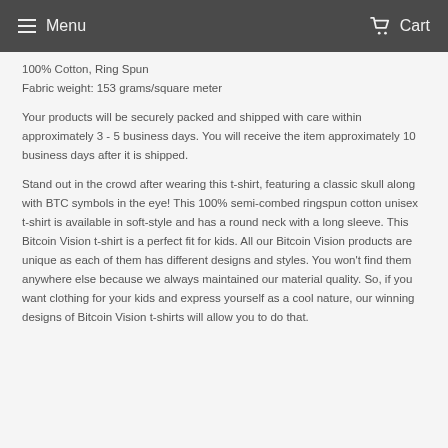Menu  Cart
100% Cotton, Ring Spun
Fabric weight: 153 grams/square meter
Your products will be securely packed and shipped with care within approximately 3 - 5 business days. You will receive the item approximately 10 business days after it is shipped.
Stand out in the crowd after wearing this t-shirt, featuring a classic skull along with BTC symbols in the eye! This 100% semi-combed ringspun cotton unisex t-shirt is available in soft-style and has a round neck with a long sleeve. This Bitcoin Vision t-shirt is a perfect fit for kids. All our Bitcoin Vision products are unique as each of them has different designs and styles. You won't find them anywhere else because we always maintained our material quality. So, if you want clothing for your kids and express yourself as a cool nature, our winning designs of Bitcoin Vision t-shirts will allow you to do that.